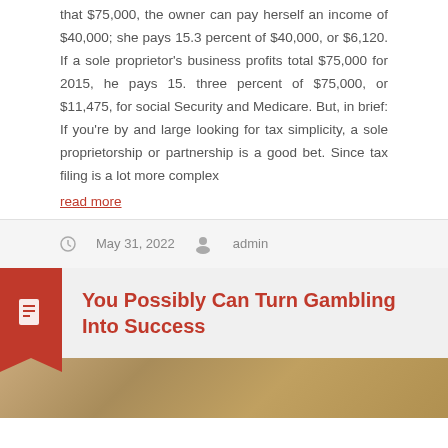that $75,000, the owner can pay herself an income of $40,000; she pays 15.3 percent of $40,000, or $6,120. If a sole proprietor's business profits total $75,000 for 2015, he pays 15. three percent of $75,000, or $11,475, for social Security and Medicare. But, in brief: If you're by and large looking for tax simplicity, a sole proprietorship or partnership is a good bet. Since tax filing is a lot more complex
read more
May 31, 2022  admin
You Possibly Can Turn Gambling Into Success
[Figure (photo): Bottom image strip showing a landscape or scene, partially visible]